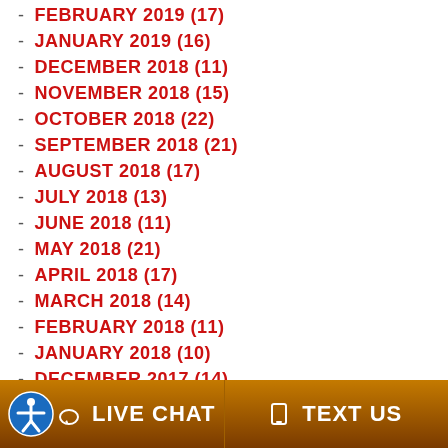- FEBRUARY 2019 (17)
- JANUARY 2019 (16)
- DECEMBER 2018 (11)
- NOVEMBER 2018 (15)
- OCTOBER 2018 (22)
- SEPTEMBER 2018 (21)
- AUGUST 2018 (17)
- JULY 2018 (13)
- JUNE 2018 (11)
- MAY 2018 (21)
- APRIL 2018 (17)
- MARCH 2018 (14)
- FEBRUARY 2018 (11)
- JANUARY 2018 (10)
- DECEMBER 2017 (14)
- NOVEMBER 2017 (14)
- OCTOBER 2017 (9) [partial]
LIVE CHAT   TEXT US